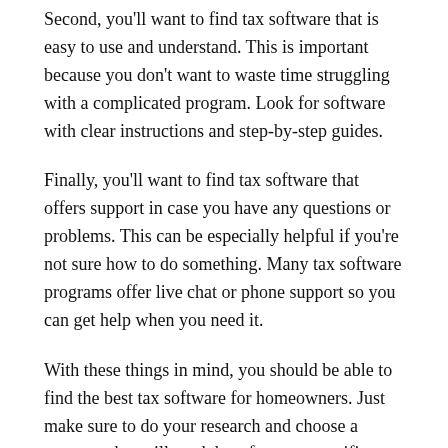Second, you'll want to find tax software that is easy to use and understand. This is important because you don't want to waste time struggling with a complicated program. Look for software with clear instructions and step-by-step guides.
Finally, you'll want to find tax software that offers support in case you have any questions or problems. This can be especially helpful if you're not sure how to do something. Many tax software programs offer live chat or phone support so you can get help when you need it.
With these things in mind, you should be able to find the best tax software for homeowners. Just make sure to do your research and choose a program that will work best for your specific needs.
Best Tax Software for Homeowners